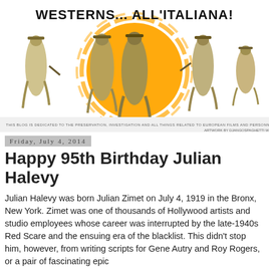[Figure (illustration): Westerns All'Italiana blog banner with four gunslinger silhouettes in duster coats, an orange circular sun in the background, bold title text 'WESTERNS... ALL'ITALIANA!' at top, and small subtitle text at the bottom of the banner.]
Friday, July 4, 2014
Happy 95th Birthday Julian Halevy
Julian Halevy was born Julian Zimet on July 4, 1919 in the Bronx, New York. Zimet was one of thousands of Hollywood artists and studio employees whose career was interrupted by the late-1940s Red Scare and the ensuing era of the blacklist. This didn't stop him, however, from writing scripts for Gene Autry and Roy Rogers, or a pair of fascinating epic